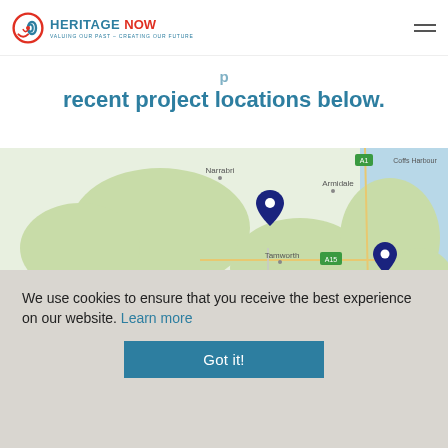Heritage Now — Valuing our past, creating our future (logo and navigation)
recent project locations below.
[Figure (map): Interactive Google Map showing project locations in New South Wales, Australia. Several dark blue map pins are visible near Tamworth, Port Macquarie/Macksville area, and the mid-north coast. Place names visible include Narrabri, Armidale, Tamworth, Coffs Harbour, Nyngan, and Macksville. Road labels include A15, A29, B51, B71, A32, A10, A1.]
We use cookies to ensure that you receive the best experience on our website. Learn more
Got it!